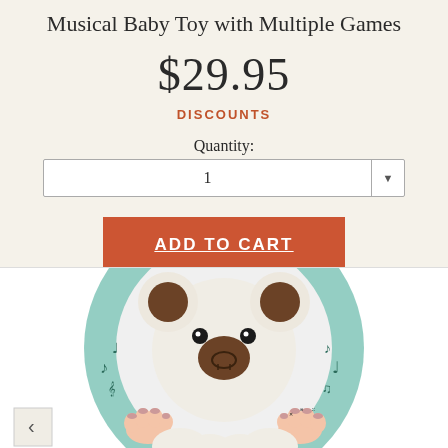Musical Baby Toy with Multiple Games
$29.95
DISCOUNTS
Quantity:
1
ADD TO CART
[Figure (photo): Koala-shaped musical baby toy with teal ring frame, showing koala face with brown ears and nose, decorative music note embossings on ring, and small hands at bottom with colorful buttons/keys; navigation arrows visible at bottom corners]